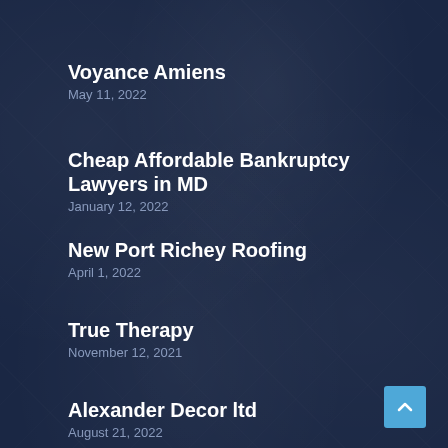Voyance Amiens
May 11, 2022
Cheap Affordable Bankruptcy Lawyers in MD
January 12, 2022
New Port Richey Roofing
April 1, 2022
True Therapy
November 12, 2021
Alexander Decor ltd
August 21, 2022